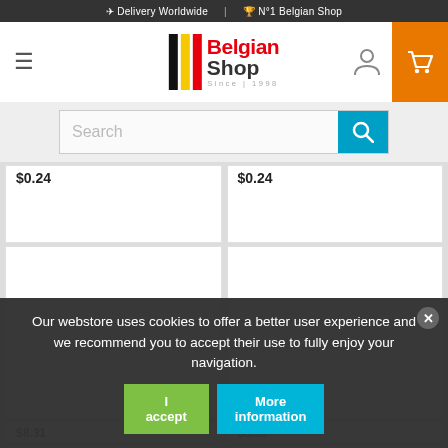✈ Delivery Worldwide | 🏆 N°1 Belgian Shop
[Figure (logo): Belgian Shop logo with black, yellow, red bars and text 'BelgianShop Since 1998']
Search
$0.24
$0.24
$8.31
$8.36
Our webstore uses cookies to offer a better user experience and we recommend you to accept their use to fully enjoy your navigation.
I accept
More information